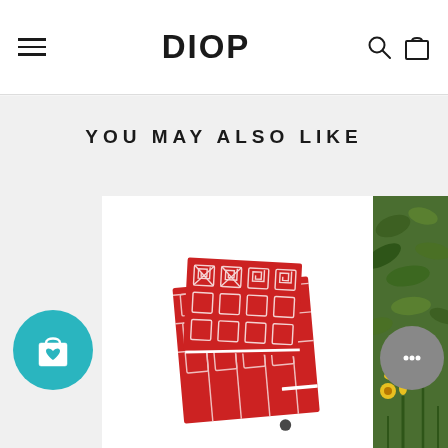DIOP navigation header with hamburger menu, logo, search and cart icons
YOU MAY ALSO LIKE
[Figure (photo): Product photo of a folded red and white geometric patterned fabric/scarf on white background]
[Figure (photo): Partial photo of a person wearing a garment, standing in front of wildflowers (yellow and purple), cropped on the right side]